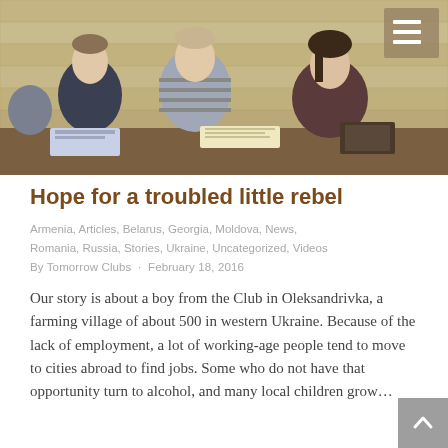[Figure (photo): Children sitting at a table with books and papers in a wooden room, appearing to be in a club or school setting in Ukraine]
Hope for a troubled little rebel
Armenia, Articles, Belarus, Georgia, Moldova, News, Romania, Russia, Stories, Ukraine, Uncategorized, Videos
By Tomorrow Clubs · February 18, 2016
Our story is about a boy from the Club in Oleksandrivka, a farming village of about 500 in western Ukraine. Because of the lack of employment, a lot of working-age people tend to move to cities abroad to find jobs. Some who do not have that opportunity turn to alcohol, and many local children grow…